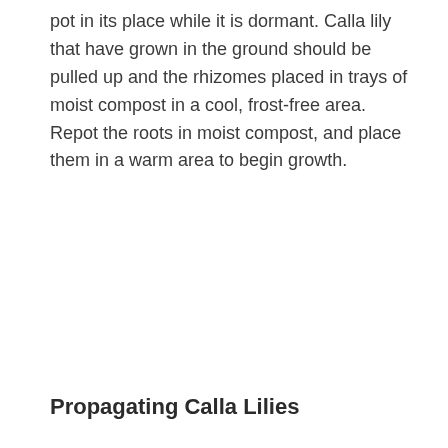pot in its place while it is dormant. Calla lily that have grown in the ground should be pulled up and the rhizomes placed in trays of moist compost in a cool, frost-free area. Repot the roots in moist compost, and place them in a warm area to begin growth.
Propagating Calla Lilies